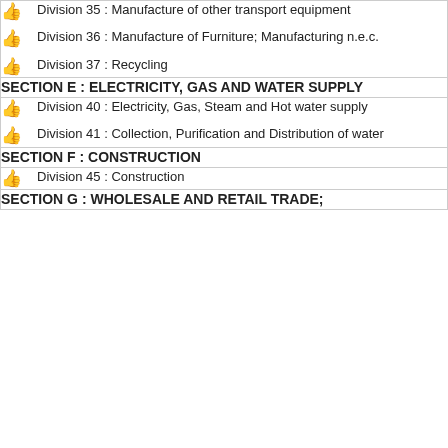Division 35 : Manufacture of other transport equipment
Division 36 : Manufacture of Furniture; Manufacturing n.e.c.
Division 37 : Recycling
SECTION E : ELECTRICITY, GAS AND WATER SUPPLY
Division 40 : Electricity, Gas, Steam and Hot water supply
Division 41 : Collection, Purification and Distribution of water
SECTION F : CONSTRUCTION
Division 45 : Construction
SECTION G : WHOLESALE AND RETAIL TRADE;